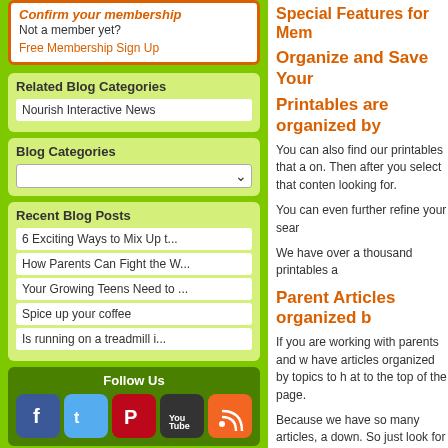Confirm your membership
Not a member yet?
Free Membership Sign Up
Related Blog Categories
Nourish Interactive News
Blog Categories
Recent Blog Posts
6 Exciting Ways to Mix Up t...
How Parents Can Fight the W...
Your Growing Teens Need to ...
Spice up your coffee
Is running on a treadmill i...
Follow Us
Special Features for Mem
Organize and Save Your
Printables are organized by
You can also find our printables that a on.  Then after you select that conten looking for.
You can even further refine your sear
We have over a thousand printables a
Parent Articles organized b
If you are working with parents and w have articles organized by topics to h at to the top of the page.
Because we have so many articles, a down.  So just look for the pull-down
Daily Tips organized by top
We have tips for every day of the yea